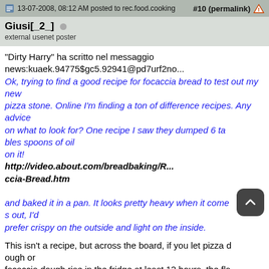13-07-2008, 08:12 AM posted to rec.food.cooking  #10 (permalink)
Giusi[_2_]
external usenet poster
"Dirty Harry" ha scritto nel messaggio news:kuaek.94775$gc5.92941@pd7urf2no...
Ok, trying to find a good recipe for focaccia bread to test out my new
pizza stone. Online I'm finding a ton of difference recipes. Any advice
on what to look for? One recipe I saw they dumped 6 tables spoons of oil
on it!
http://video.about.com/breadbaking/R...
ccia-Bread.htm

and baked it in a pan. It looks pretty heavy when it comes out, I'd
prefer crispy on the outside and light on the inside.
This isn't a recipe, but across the board, if you let pizza dough or
focaccia dough rise in the fridge at least 12 hours, the fla
vour is much, much...